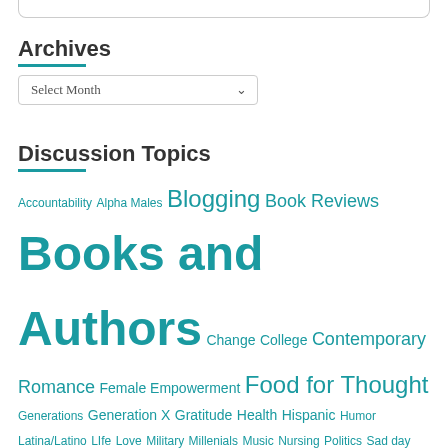Archives
Select Month
Discussion Topics
Accountability Alpha Males Blogging Book Reviews Books and Authors Change College Contemporary Romance Female Empowerment Food for Thought Generations Generation X Gratitude Health Hispanic Humor Latina/Latino LIfe Love Military Millenials Music Nursing Politics Sad day Satire Sorority Uncategorized Wisdom Women
Meta
Register